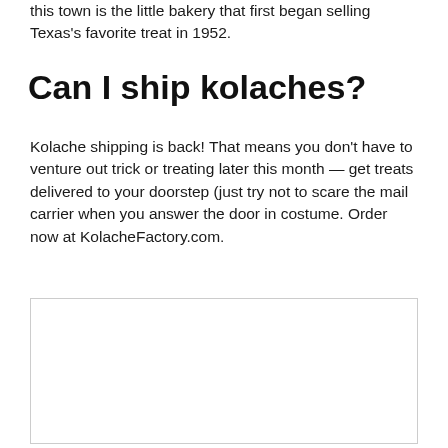this town is the little bakery that first began selling Texas's favorite treat in 1952.
Can I ship kolaches?
Kolache shipping is back! That means you don't have to venture out trick or treating later this month — get treats delivered to your doorstep (just try not to scare the mail carrier when you answer the door in costume. Order now at KolacheFactory.com.
[Figure (other): Empty image placeholder box]